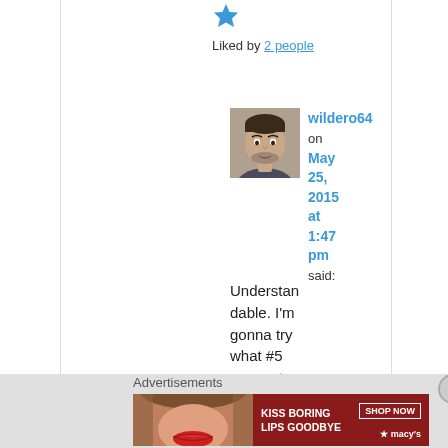[Figure (other): Blue star icon for like/rating]
Liked by 2 people
[Figure (photo): Avatar photo of user wildero64 — young man with facial hair]
wildero64 on May 25, 2015 at 1:47 pm said:
Understandable. I'm gonna try what #5 suggests though if I
Advertisements
[Figure (other): Macy's advertisement banner: KISS BORING LIPS GOODBYE with SHOP NOW button and Macy's logo star]